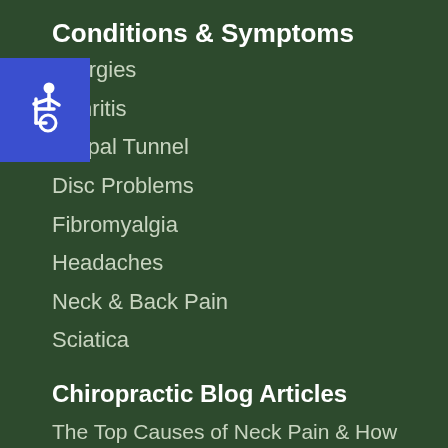Conditions & Symptoms
[Figure (illustration): Blue accessibility icon with wheelchair symbol]
Allergies
Arthritis
Carpal Tunnel
Disc Problems
Fibromyalgia
Headaches
Neck & Back Pain
Sciatica
Chiropractic Blog Articles
The Top Causes of Neck Pain & How Chiropractic Can Help